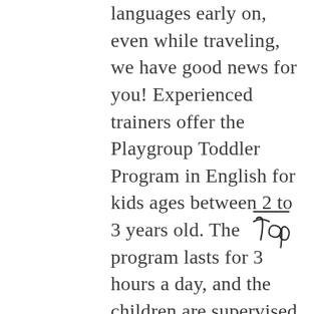languages early on, even while traveling, we have good news for you! Experienced trainers offer the Playgroup Toddler Program in English for kids ages between 2 to 3 years old. The program lasts for 3 hours a day, and the children are supervised by dedicated teachers while they learn to play, sing songs and keep themselves busy with arts and crafts, as well as to socialize with their peers. If you want to spend a few hours one on one with your partner, be it a romantic dinner a fun concert, you can resort to these playgroups to take care of
[Figure (logo): Handwritten-style cursive logo reading 'Top' with a horizontal line above it]